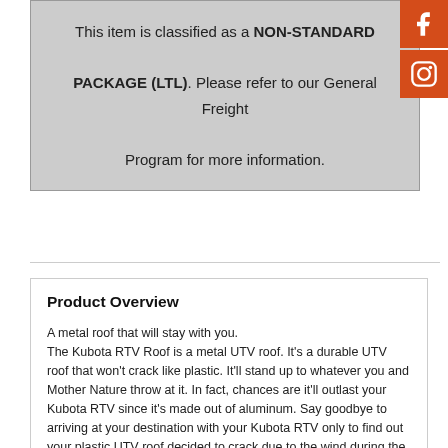This item is classified as a NON-STANDARD PACKAGE (LTL). Please refer to our General Freight Program for more information.
[Figure (logo): Facebook social media button (orange square with white Facebook 'f' icon)]
[Figure (logo): Instagram social media button (orange square with white Instagram camera icon)]
Product Overview
A metal roof that will stay with you.
The Kubota RTV Roof is a metal UTV roof. It's a durable UTV roof that won't crack like plastic. It'll stand up to whatever you and Mother Nature throw at it. In fact, chances are it'll outlast your Kubota RTV since it's made out of aluminum. Say goodbye to arriving at your destination with your Kubota RTV only to find out your plastic UTV roof decided to crack due to the wind during the trip.

Protection from the weather.
Not only does the Kubota RTV Roof help keep you out of the sun by providing shade, but this UTV roof is also designed to